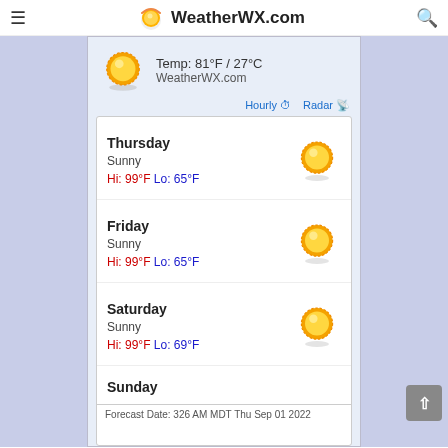WeatherWX.com
Temp: 81°F / 27°C
WeatherWX.com
Hourly  Radar
Thursday
Sunny
Hi: 99°F Lo: 65°F
Friday
Sunny
Hi: 99°F Lo: 65°F
Saturday
Sunny
Hi: 99°F Lo: 69°F
Sunday
Forecast Date: 326 AM MDT Thu Sep 01 2022